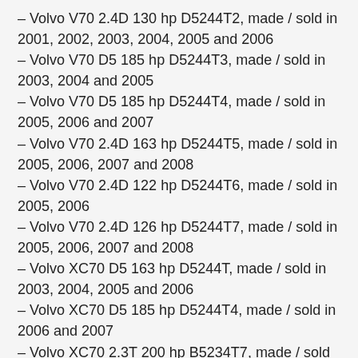– Volvo V70 2.4D 130 hp D5244T2, made / sold in 2001, 2002, 2003, 2004, 2005 and 2006
– Volvo V70 D5 185 hp D5244T3, made / sold in 2003, 2004 and 2005
– Volvo V70 D5 185 hp D5244T4, made / sold in 2005, 2006 and 2007
– Volvo V70 2.4D 163 hp D5244T5, made / sold in 2005, 2006, 2007 and 2008
– Volvo V70 2.4D 122 hp D5244T6, made / sold in 2005, 2006
– Volvo V70 2.4D 126 hp D5244T7, made / sold in 2005, 2006, 2007 and 2008
– Volvo XC70 D5 163 hp D5244T, made / sold in 2003, 2004, 2005 and 2006
– Volvo XC70 D5 185 hp D5244T4, made / sold in 2006 and 2007
– Volvo XC70 2.3T 200 hp B5234T7, made / sold in 2001,